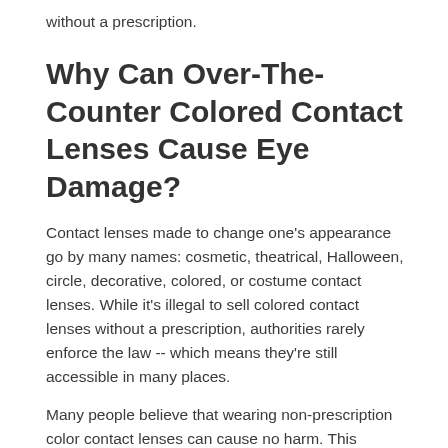without a prescription.
Why Can Over-The-Counter Colored Contact Lenses Cause Eye Damage?
Contact lenses made to change one’s appearance go by many names: cosmetic, theatrical, Halloween, circle, decorative, colored, or costume contact lenses. While it's illegal to sell colored contact lenses without a prescription, authorities rarely enforce the law -- which means they're still accessible in many places.
Many people believe that wearing non-prescription color contact lenses can cause no harm. This unfortunate myth has led to many contact lens complications. For instance, when a person feels that a contact lens is “dry”, it could be because the lens is not a good fit. Ideally, the lens should follow the contour of the eye, and stay centered, with enough lens movement to allow tear exchange beneath the lens.